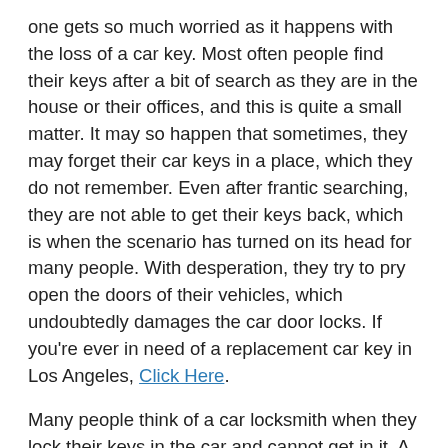one gets so much worried as it happens with the loss of a car key. Most often people find their keys after a bit of search as they are in the house or their offices, and this is quite a small matter. It may so happen that sometimes, they may forget their car keys in a place, which they do not remember. Even after frantic searching, they are not able to get their keys back, which is when the scenario has turned on its head for many people. With desperation, they try to pry open the doors of their vehicles, which undoubtedly damages the car door locks. If you're ever in need of a replacement car key in Los Angeles, Click Here.
Many people think of a car locksmith when they lock their keys in the car and cannot get in it. A car locksmith can provide many additional services if you have locked the keys inside of the car. These services include rekeying the doors, ignition, emergency vehicle and trunk opening, key extraction, and much more.